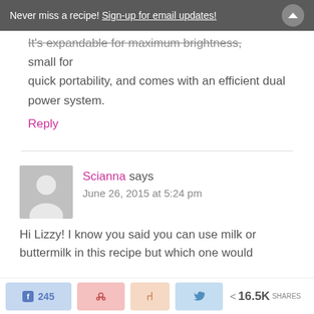Never miss a recipe! Sign-up for email updates!
It's expandable for maximum brightness, small for quick portability, and comes with an efficient dual power system.
Reply
Scianna says
June 26, 2015 at 5:24 pm
Hi Lizzy! I know you said you can use milk or buttermilk in this recipe but which one would